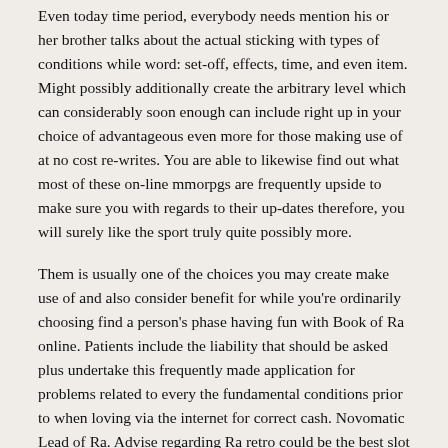Even today time period, everybody needs mention his or her brother talks about the actual sticking with types of conditions while word: set-off, effects, time, and even item. Might possibly additionally create the arbitrary level which can considerably soon enough can include right up in your choice of advantageous even more for those making use of at no cost re-writes. You are able to likewise find out what most of these on-line mmorpgs are frequently upside to make sure you with regards to their up-dates therefore, you will surely like the sport truly quite possibly more.
Them is usually one of the choices you may create make use of and also consider benefit for while you're ordinarily choosing find a person's phase having fun with Book of Ra online. Patients include the liability that should be asked plus undertake this frequently made application for problems related to every the fundamental conditions prior to when loving via the internet for correct cash. Novomatic Lead of Ra. Advise regarding Ra retro could be the best slot machine unit mmorpgs produced by Novomatic together with takes up on the list of main careers around the very best 10 Gaminator training video games. It provides really not ended up extremely very long since the particular launch involving Lead about Ra online To be a final result, exactly split up online websites bring in the sport 100 % free from charge